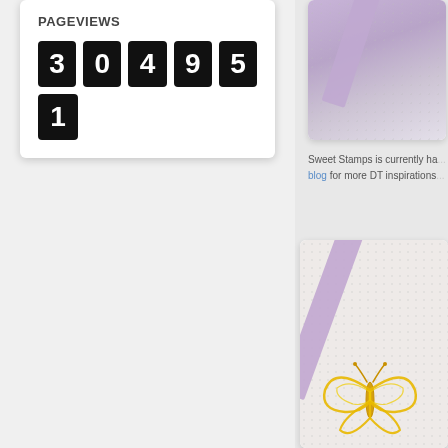PAGEVIEWS
304951
[Figure (photo): Top right card showing purple/lavender diagonal ribbon on light background]
Sweet Stamps is currently ha... blog for more DT inspirations...
[Figure (photo): Bottom right card showing a crafting card with purple ribbon diagonal stripe, dot texture background, and a gold filigree butterfly die cut ornament]